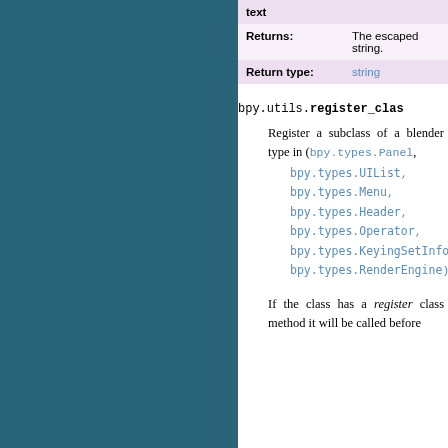| Field | Value |
| --- | --- |
| Returns: | The escaped string. |
| Return type: | string |
bpy.utils.register_class(...)
Register a subclass of a blender type in (bpy.types.Panel, bpy.types.UIList, bpy.types.Menu, bpy.types.Header, bpy.types.Operator, bpy.types.KeyingSetInfo, bpy.types.RenderEngine)
If the class has a register class method it will be called before...